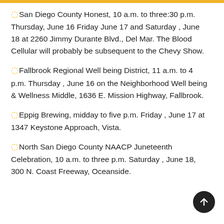San Diego County Honest, 10 a.m. to three:30 p.m. Thursday, June 16 Friday June 17 and Saturday , June 18 at 2260 Jimmy Durante Blvd., Del Mar. The Blood Cellular will probably be subsequent to the Chevy Show.
Fallbrook Regional Well being District, 11 a.m. to 4 p.m. Thursday , June 16 on the Neighborhood Well being & Wellness Middle, 1636 E. Mission Highway, Fallbrook.
Eppig Brewing, midday to five p.m. Friday , June 17 at 1347 Keystone Approach, Vista.
North San Diego County NAACP Juneteenth Celebration, 10 a.m. to three p.m. Saturday , June 18, 300 N. Coast Freeway, Oceanside.